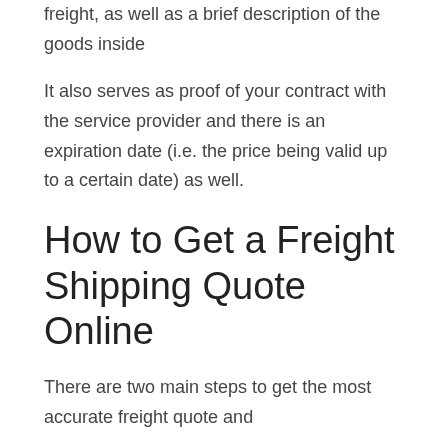freight, as well as a brief description of the goods inside
It also serves as proof of your contract with the service provider and there is an expiration date (i.e. the price being valid up to a certain date) as well.
How to Get a Freight Shipping Quote Online
There are two main steps to get the most accurate freight quote and